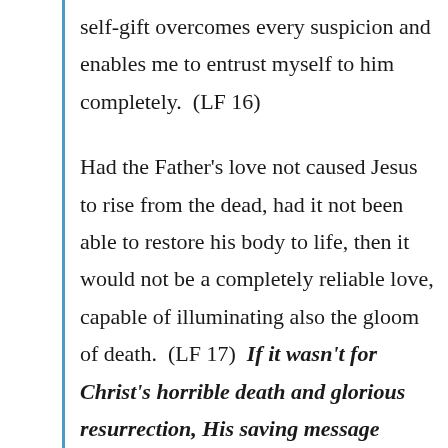self-gift overcomes every suspicion and enables me to entrust myself to him completely.  (LF 16)

Had the Father's love not caused Jesus to rise from the dead, had it not been able to restore his body to life, then it would not be a completely reliable love, capable of illuminating also the gloom of death.  (LF 17)  [If it wasn't for Christ's horrible death and glorious resurrection, His saving message wouldn't have lasted so